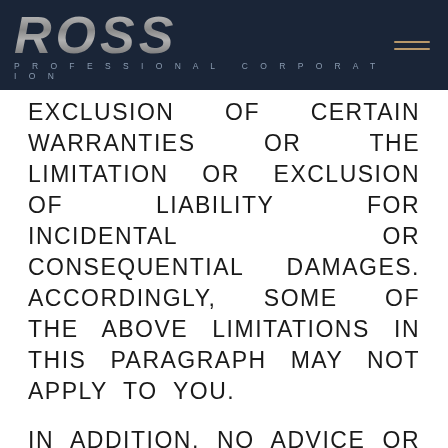[Figure (logo): Ross Professional Corporation logo on dark navy background with hamburger menu icon]
EXCLUSION OF CERTAIN WARRANTIES OR THE LIMITATION OR EXCLUSION OF LIABILITY FOR INCIDENTAL OR CONSEQUENTIAL DAMAGES. ACCORDINGLY, SOME OF THE ABOVE LIMITATIONS IN THIS PARAGRAPH MAY NOT APPLY TO YOU.
IN ADDITION, NO ADVICE OR INFORMATION (ORAL OR WRITTEN) OBTAINED BY YOU FROM Ross SHALL CREATE ANY WARRANTY OR